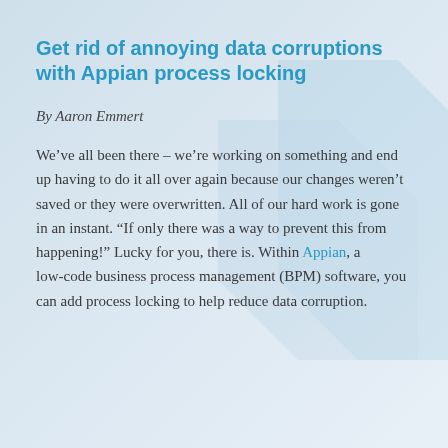Get rid of annoying data corruptions with Appian process locking
By Aaron Emmert
We’ve all been there – we’re working on something and end up having to do it all over again because our changes weren’t saved or they were overwritten. All of our hard work is gone in an instant. “If only there was a way to prevent this from happening!” Lucky for you, there is. Within Appian, a low-code business process management (BPM) software, you can add process locking to help reduce data corruption.